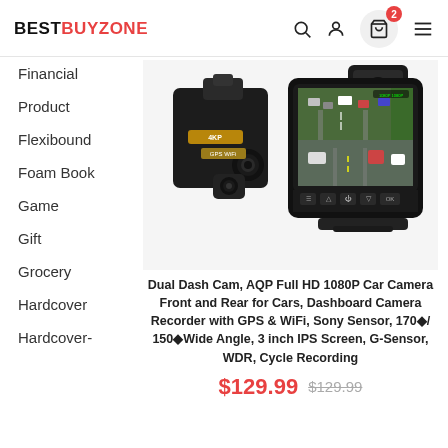BESTBUYZONE
Financial
Product
Flexibound
Foam Book
Game
Gift
Grocery
Hardcover
Hardcover-
[Figure (photo): Dual dash cam product photo showing front camera device with a 3-inch IPS screen displaying split front and rear camera footage, mounted on a small stand, with a secondary camera visible in the upper right]
Dual Dash Cam, AQP Full HD 1080P Car Camera Front and Rear for Cars, Dashboard Camera Recorder with GPS & WiFi, Sony Sensor, 170°/ 150°Wide Angle, 3 inch IPS Screen, G-Sensor, WDR, Cycle Recording
$129.99  $129.99